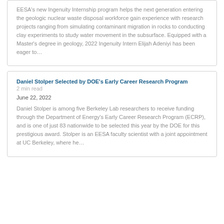EESA's new Ingenuity Internship program helps the next generation entering the geologic nuclear waste disposal workforce gain experience with research projects ranging from simulating contaminant migration in rocks to conducting clay experiments to study water movement in the subsurface. Equipped with a Master's degree in geology, 2022 Ingenuity Intern Elijah Adeniyi has been eager to…
Daniel Stolper Selected by DOE's Early Career Research Program
2 min read
June 22, 2022
Daniel Stolper is among five Berkeley Lab researchers to receive funding through the Department of Energy's Early Career Research Program (ECRP), and is one of just 83 nationwide to be selected this year by the DOE for this prestigious award. Stolper is an EESA faculty scientist with a joint appointment at UC Berkeley, where he…